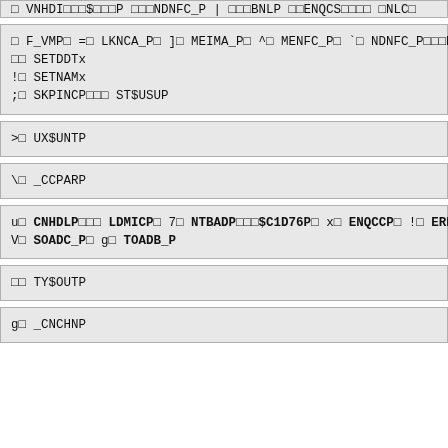□ VNHDI□□□$□□□P □□□NDNFC_P | □□□BNLP □□ENQCS□□□□ □NLC□□□
□ F_VMP□ =□ LKNCA_P□ ]□ MEIMA_P□ ^□ MENFC_P□ `□ NDNFC_P□□□PAGLE_
 □□ SETDDTx
 !□ SETNAMx
 ;□ SKPINCP□□□ ST$USUP
>□ UX$UNTP
\□ _CCPARP
u□ CNHDLP□□□ LDMICP□ 7□ NTBADP□□□$C1D76P□ x□ ENQCCP□ !□ ERDNAP□
V□ SOADC_P□ g□ TOADB_P
□□ TY$OUTP
g□ _CNCHNP